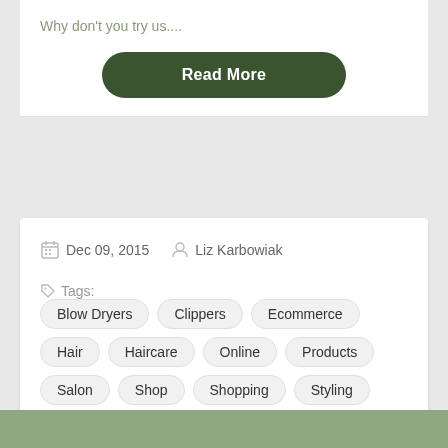Why don't you try us....
Read More
Dec 09, 2015   Liz Karbowiak
Tags: Blow Dryers  Clippers  Ecommerce  Hair  Haircare  Online  Products  Salon  Shop  Shopping  Styling  Supplies